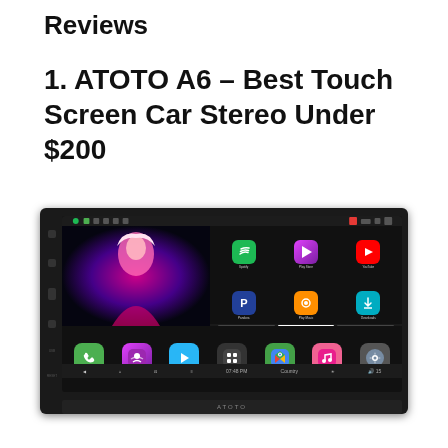Reviews
1. ATOTO A6 – Best Touch Screen Car Stereo Under $200
[Figure (photo): Photo of the ATOTO A6 car stereo head unit displaying Android interface with music player, app icons (Spotify, Play Store, YouTube, Pandora, Play Music, Downloads), and bottom dock with phone, podcast, play, grid, maps, music, and settings icons. Time shows 07:48 PM, radio shows Country, volume at 15.]